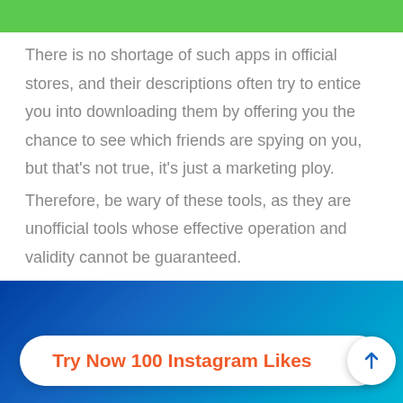INSTAGRAM LIKES
There is no shortage of such apps in official stores, and their descriptions often try to entice you into downloading them by offering you the chance to see which friends are spying on you, but that's not true, it's just a marketing ploy.
Therefore, be wary of these tools, as they are unofficial tools whose effective operation and validity cannot be guaranteed.
[Figure (other): Blue gradient banner with a white rounded-rectangle CTA button reading 'Try Now 100 Instagram Likes' in orange bold text, with a white circular arrow button on the right.]